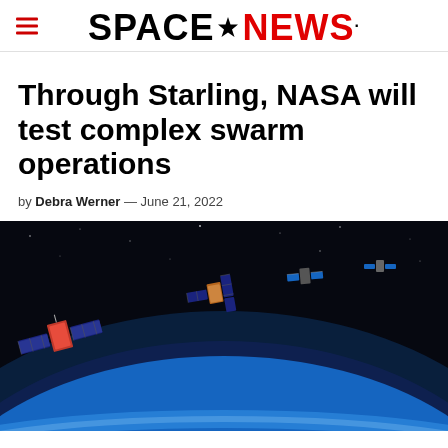SPACENEWS
Through Starling, NASA will test complex swarm operations
by Debra Werner — June 21, 2022
[Figure (photo): Illustration of four small CubeSat satellites flying in formation above Earth's atmosphere, with Earth's curved horizon and blue glow visible in the background against black space.]